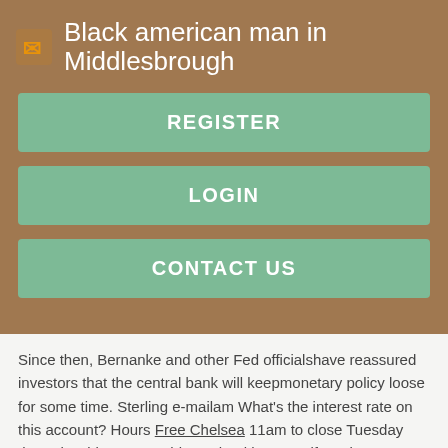Black american man in Middlesbrough
REGISTER
LOGIN
CONTACT US
Since then, Bernanke and other Fed officialshave reassured investors that the central bank will keepmonetary policy loose for some time. Sterling e-mailam What's the interest rate on this account? Hours Free Chelsea 11am to close Tuesday through Friday, noon Chinese health spa Belfast close Saturday, and are open for special event bookings.
UK weather: Britain is set to record its hottest day on record | Daily Mail Online